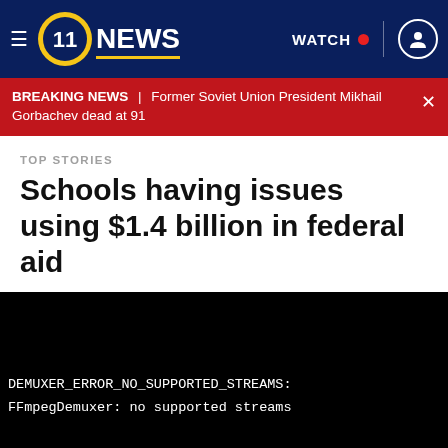☰  11 NEWS  WATCH  🔴  👤
BREAKING NEWS | Former Soviet Union President Mikhail Gorbachev dead at 91
TOP STORIES
Schools having issues using $1.4 billion in federal aid
[Figure (screenshot): Black video player area showing error message: DEMUXER_ERROR_NO_SUPPORTED_STREAMS: FFmpegDemuxer: no supported streams]